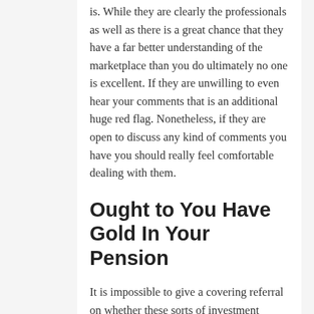is. While they are clearly the professionals as well as there is a great chance that they have a far better understanding of the marketplace than you do ultimately no one is excellent. If they are unwilling to even hear your comments that is an additional huge red flag. Nonetheless, if they are open to discuss any kind of comments you have you should really feel comfortable dealing with them.
Ought to You Have Gold In Your Pension
It is impossible to give a covering referral on whether these sorts of investment accounts are a great fit for your financial goals or otherwise. This is constantly